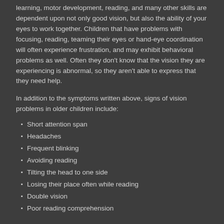learning, motor development, reading, and many other skills are dependent upon not only good vision, but also the ability of your eyes to work together. Children that have problems with focusing, reading, teaming their eyes or hand-eye coordination will often experience frustration, and may exhibit behavioral problems as well. Often they don't know that the vision they are experiencing is abnormal, so they aren't able to express that they need help.
In addition to the symptoms written above, signs of vision problems in older children include:
Short attention span
Headaches
Frequent blinking
Avoiding reading
Tilting the head to one side
Losing their place often while reading
Double vision
Poor reading comprehension